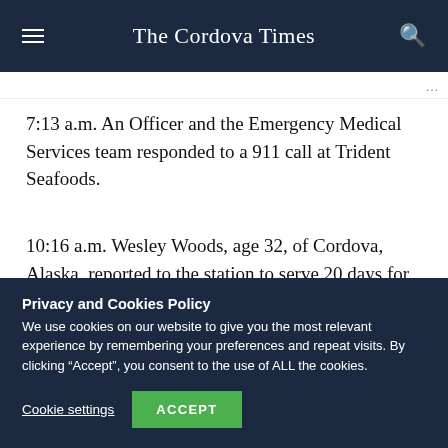The Cordova Times
7:13 a.m. An Officer and the Emergency Medical Services team responded to a 911 call at Trident Seafoods.
10:16 a.m. Wesley Woods, age 32, of Cordova, Alaska, reported to the station to serve 20 days for conviction of DUI.
Privacy and Cookies Policy
We use cookies on our website to give you the most relevant experience by remembering your preferences and repeat visits. By clicking “Accept”, you consent to the use of ALL the cookies.
Cookie settings
ACCEPT